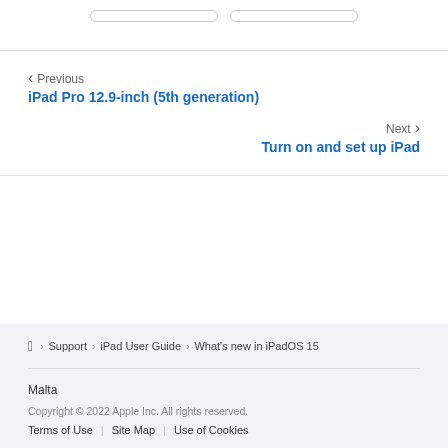Previous
iPad Pro 12.9-inch (5th generation)
Next
Turn on and set up iPad
Apple logo > Support > iPad User Guide > What's new in iPadOS 15
Malta
Copyright © 2022 Apple Inc. All rights reserved.
Terms of Use | Site Map | Use of Cookies